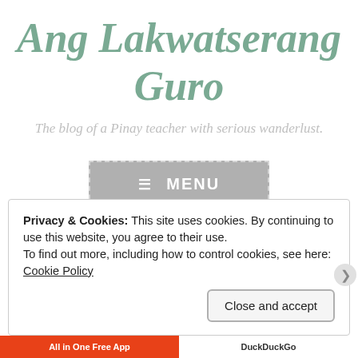Ang Lakwatserang Guro
The blog of a Pinay teacher with serious wanderlust.
[Figure (screenshot): Menu button with dashed border and hamburger icon reading MENU]
Privacy & Cookies: This site uses cookies. By continuing to use this website, you agree to their use.
To find out more, including how to control cookies, see here: Cookie Policy
Close and accept
All in One Free App   DuckDuckGo